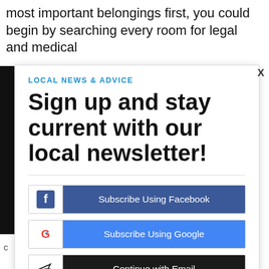most important belongings first, you could begin by searching every room for legal and medical
LOCAL NEWS & ADVICE
Sign up and stay current with our local newsletter!
[Figure (screenshot): Subscribe using Facebook button with Facebook logo icon]
[Figure (screenshot): Subscribe using Google button with Google G logo icon]
[Figure (screenshot): Continue with Email button with paper airplane icon]